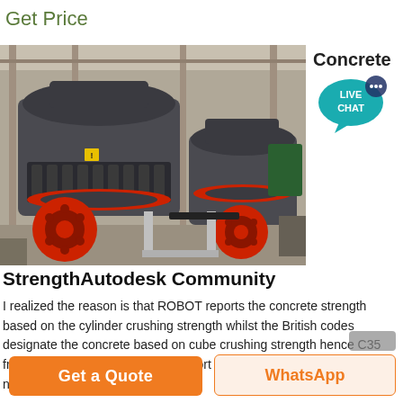Get Price
[Figure (photo): Industrial cone crusher machines in a factory setting, showing large grey crushing equipment with red flywheels/pulleys]
Concrete
[Figure (infographic): Live Chat speech bubble icon in teal color with text LIVE CHAT]
StrengthAutodesk Community
I realized the reason is that ROBOT reports the concrete strength based on the cylinder crushing strength whilst the British codes designate the concrete based on cube crushing strength hence C35 from British material database Report 0 Likes Reply Message 4 of 9 nd0586
Get a Quote
WhatsApp